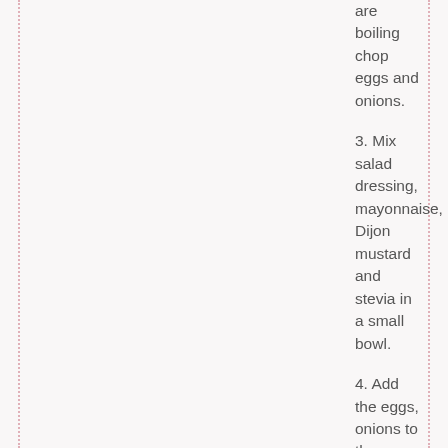are boiling chop eggs and onions.
3. Mix salad dressing, mayonnaise, Dijon mustard and stevia in a small bowl.
4. Add the eggs, onions to the potatoes and stir to mix. Add the liquid ingredients and stir until everything is well combined.
5. Refrigerate the potato salad to give the flavors time to mold.